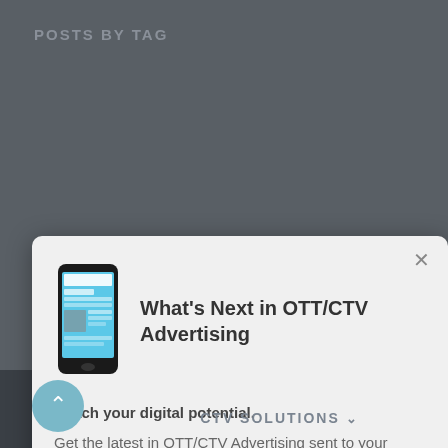POSTS BY TAG
[Figure (screenshot): Modal popup showing OTT/CTV Advertising newsletter subscription prompt with phone image, title, description, and subscribe button]
CTV SOLUTIONS